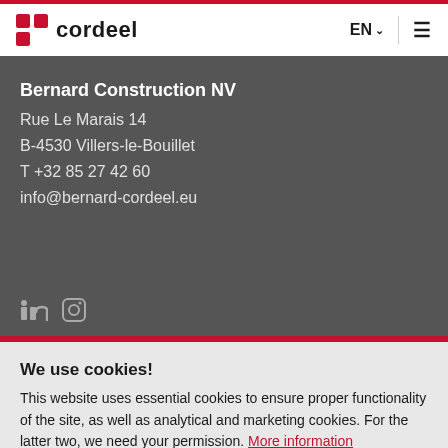Cordeel — EN navigation header with logo and hamburger menu
Bernard Construction NV
Rue Le Marais 14
B-4530 Villers-le-Bouillet
T +32 85 27 42 60
info@bernard-cordeel.eu
We use cookies!
This website uses essential cookies to ensure proper functionality of the site, as well as analytical and marketing cookies. For the latter two, we need your permission. More information
Accept all cookies →   No, thanks